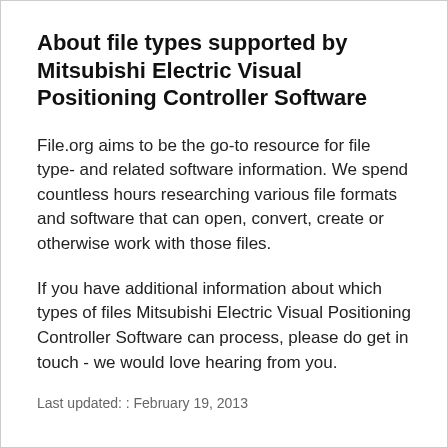About file types supported by Mitsubishi Electric Visual Positioning Controller Software
File.org aims to be the go-to resource for file type- and related software information. We spend countless hours researching various file formats and software that can open, convert, create or otherwise work with those files.
If you have additional information about which types of files Mitsubishi Electric Visual Positioning Controller Software can process, please do get in touch - we would love hearing from you.
Last updated: : February 19, 2013